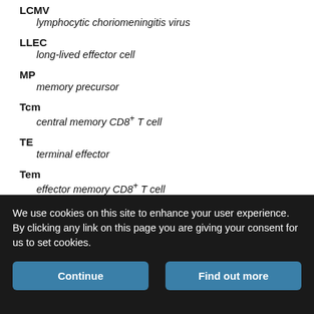LCMV
  lymphocytic choriomeningitis virus
LLEC
  long-lived effector cell
MP
  memory precursor
Tcm
  central memory CD8+ T cell
TE
  terminal effector
Tem
  effector memory CD8+ T cell
Trm
  tissue-resident memory CD8+ T cell
We use cookies on this site to enhance your user experience. By clicking any link on this page you are giving your consent for us to set cookies.
Continue | Find out more